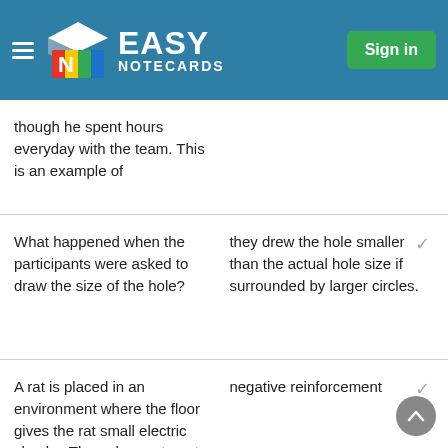Easy Notecards — Sign in
though he spent hours everyday with the team. This is an example of
What happened when the participants were asked to draw the size of the hole?
they drew the hole smaller than the actual hole size if surrounded by larger circles.
A rat is placed in an environment where the floor gives the rat small electric shocks. The only way to get rid of the shocks is to press a lever in the corner of the box. The rat quickly learns to press the lever. This is an example of
negative reinforcement